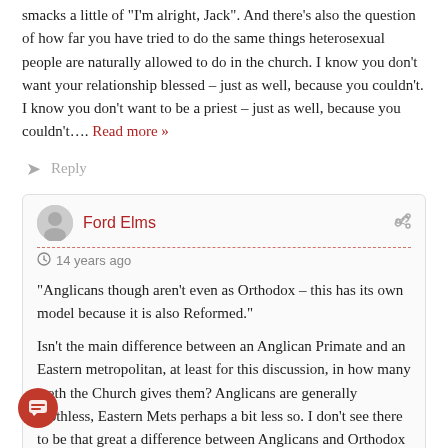smacks a little of "I'm alright, Jack". And there's also the question of how far you have tried to do the same things heterosexual people are naturally allowed to do in the church. I know you don't want your relationship blessed – just as well, because you couldn't. I know you don't want to be a priest – just as well, because you couldn't…. Read more »
Reply
Ford Elms
14 years ago
“Anglicans though aren't even as Orthodox – this has its own model because it is also Reformed.”
Isn't the main difference between an Anglican Primate and an Eastern metropolitan, at least for this discussion, in how many teeth the Church gives them? Anglicans are generally toothless, Eastern Mets perhaps a bit less so. I don't see there to be that great a difference between Anglicans and Orthodox on that score. God knows there's enough everywhere else, all the same!